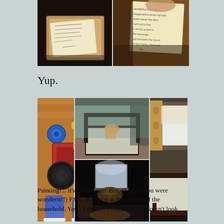[Figure (photo): Two photos side by side: left shows a handwritten note in a wooden box on a dark surface; right shows a close-up of a handwritten note on an index card being held by a hand]
Yup.
[Figure (photo): Four photos: left large photo shows painting supplies (rollers, tape, paint tray) on a wooden floor with feet in sneakers visible; top-middle shows an empty bedroom with a four-poster bed; bottom-middle shows a darkened bedroom with a lamp; right large photo shows a bedroom with a window, floral curtains, and a Winnie the Pooh stuffed animal on the bed]
Painting!... it's Whitewater Bay. (I know you were wonderin'!) FYI... Kateri was the painter of the household. Yes... I taped... even though it doesn't look